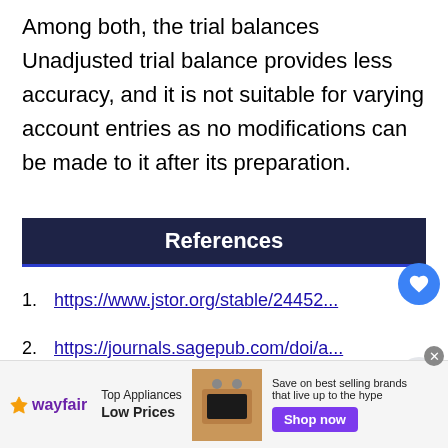Among both, the trial balances Unadjusted trial balance provides less accuracy, and it is not suitable for varying account entries as no modifications can be made to it after its preparation.
References
https://www.jstor.org/stable/24452...
https://journals.sagepub.com/doi/a.../10.1177/0269215511411...